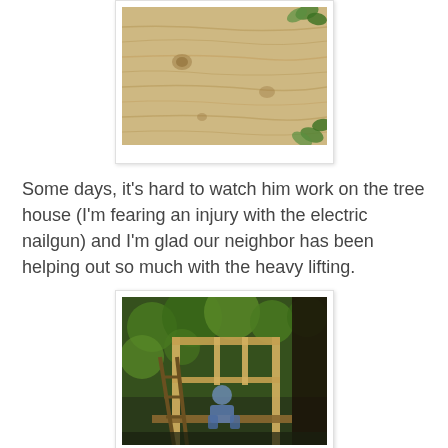[Figure (photo): Close-up photo of plywood/wood grain surface with green leaves visible in the upper right and lower right corners, showing knots in the wood]
Some days, it's hard to watch him work on the tree house (I'm fearing an injury with the electric nailgun) and I'm glad our neighbor has been helping out so much with the heavy lifting.
[Figure (photo): Photo of a person sitting inside the framed structure of a treehouse under construction, surrounded by green trees, with a ladder visible on the left side]